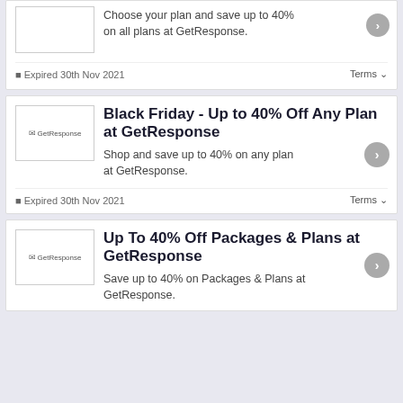Choose your plan and save up to 40% on all plans at GetResponse.
Expired 30th Nov 2021
Terms
Black Friday - Up to 40% Off Any Plan at GetResponse
Shop and save up to 40% on any plan at GetResponse.
Expired 30th Nov 2021
Terms
Up To 40% Off Packages & Plans at GetResponse
Save up to 40% on Packages & Plans at GetResponse.